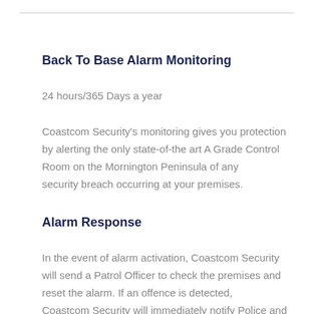Back To Base Alarm Monitoring
24 hours/365 Days a year
Coastcom Security's monitoring gives you protection by alerting the only state-of-the art A Grade Control Room on the Mornington Peninsula of any security breach occurring at your premises.
Alarm Response
In the event of alarm activation, Coastcom Security will send a Patrol Officer to check the premises and reset the alarm. If an offence is detected, Coastcom Security will immediately notify Police and inform your nominated after-hours